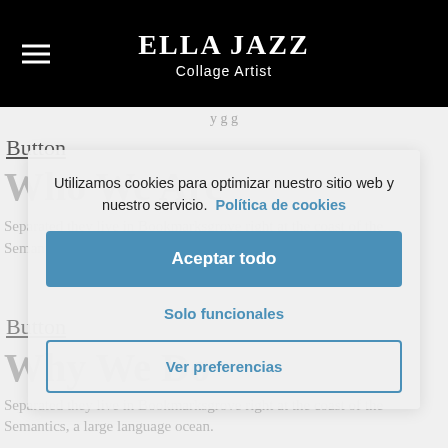ELLA JAZZ
Collage Artist
Button
Who We Are
Separated they live in Bookmarksgrove right at the coast of the Semantics, a large language ocean.
Utilizamos cookies para optimizar nuestro sitio web y nuestro servicio. Política de cookies
Aceptar todo
Button
Solo funcionales
Why We Do
Ver preferencias
Separated they live in Bookmarksgrove right at the coast of the Semantics, a large language ocean.